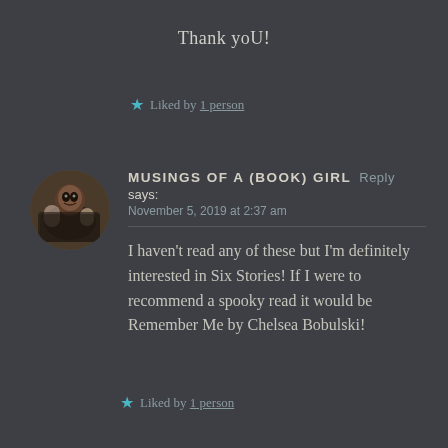Thank yoU!
Liked by 1 person
[Figure (photo): Circular avatar photo of a person holding a dog]
MUSINGS OF A (BOOK) GIRL Reply says: November 5, 2019 at 2:37 am
I haven't read any of these but I'm definitely interested in Six Stories! If I were to recommend a spooky read it would be Remember Me by Chelsea Bobulski!
Liked by 1 person